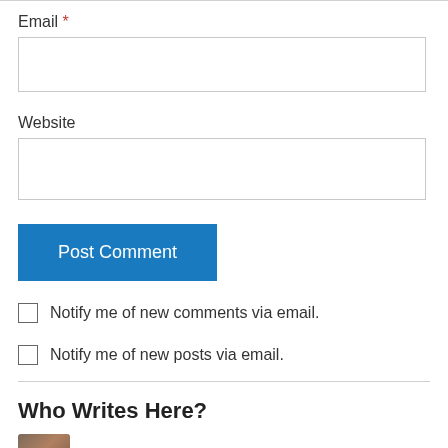Email *
Website
Post Comment
Notify me of new comments via email.
Notify me of new posts via email.
Who Writes Here?
[Figure (photo): A small circular profile photo of a person wearing glasses]